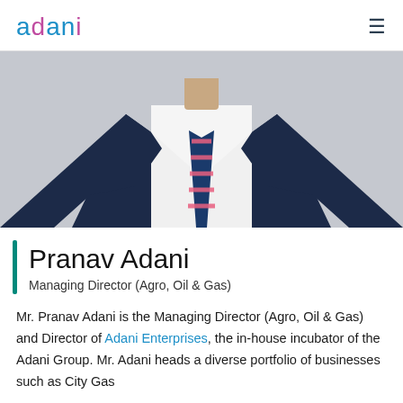adani  ≡
[Figure (photo): Portrait photo of Pranav Adani in a dark navy suit with a blue and pink striped tie, white shirt, photographed from chest up against a light grey background.]
Pranav Adani
Managing Director (Agro, Oil & Gas)
Mr. Pranav Adani is the Managing Director (Agro, Oil & Gas) and Director of Adani Enterprises, the in-house incubator of the Adani Group. Mr. Adani heads a diverse portfolio of businesses such as City Gas